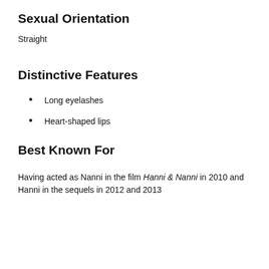Sexual Orientation
Straight
Distinctive Features
Long eyelashes
Heart-shaped lips
Best Known For
Having acted as Nanni in the film Hanni & Nanni in 2010 and Hanni in the sequels in 2012 and 2013